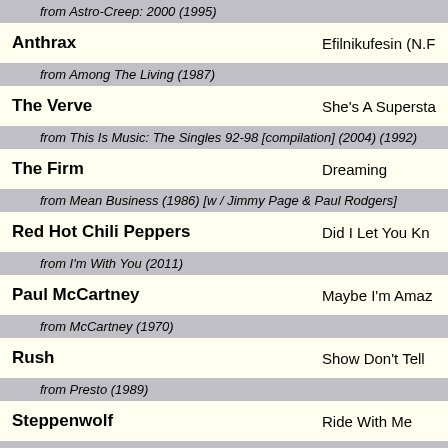from Astro-Creep: 2000 (1995)
Anthrax | Efilnikufesin (N.F.L.)
from Among The Living (1987)
The Verve | She's A Superstar
from This Is Music: The Singles 92-98 [compilation] (2004) (1992)
The Firm | Dreaming
from Mean Business (1986) [w / Jimmy Page & Paul Rodgers]
Red Hot Chili Peppers | Did I Let You Kno
from I'm With You (2011)
Paul McCartney | Maybe I'm Amaz
from McCartney (1970)
Rush | Show Don't Tell
from Presto (1989)
Steppenwolf | Ride With Me
from For Ladies Only (1971)
Bob Seger & The Silver Bullet Band | Satisfied